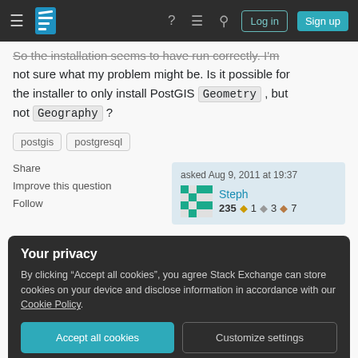Stack Exchange navigation bar with Log in and Sign up buttons
So the installation seems to have run correctly. I'm not sure what my problem might be. Is it possible for the installer to only install PostGIS Geometry, but not Geography?
postgis
postgresql
Share
Improve this question
Follow
asked Aug 9, 2011 at 19:37
Steph
235 ◆1 ◆3 ◆7
Your privacy
By clicking "Accept all cookies", you agree Stack Exchange can store cookies on your device and disclose information in accordance with our Cookie Policy.
Accept all cookies    Customize settings
is that I installed PostGIS 1.4, which doesn't support